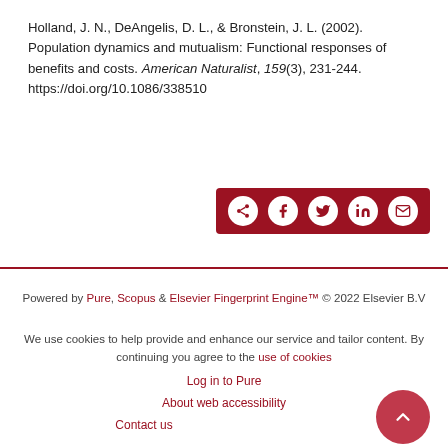Holland, J. N., DeAngelis, D. L., & Bronstein, J. L. (2002). Population dynamics and mutualism: Functional responses of benefits and costs. American Naturalist, 159(3), 231-244. https://doi.org/10.1086/338510
[Figure (other): Dark red share button bar with social sharing icons: share/network icon, Facebook icon, Twitter icon, LinkedIn icon, email icon]
Powered by Pure, Scopus & Elsevier Fingerprint Engine™ © 2022 Elsevier B.V
We use cookies to help provide and enhance our service and tailor content. By continuing you agree to the use of cookies
Log in to Pure
About web accessibility
Contact us